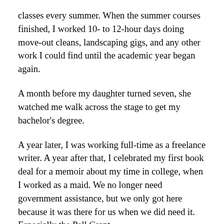classes every summer. When the summer courses finished, I worked 10- to 12-hour days doing move-out cleans, landscaping gigs, and any other work I could find until the academic year began again.
A month before my daughter turned seven, she watched me walk across the stage to get my bachelor's degree.
A year later, I was working full-time as a freelance writer. A year after that, I celebrated my first book deal for a memoir about my time in college, when I worked as a maid. We no longer need government assistance, but we only got here because it was there for us when we did need it. Especially the Pell Grant.
In his recent budget, President Trump proposed cutting the Pell Grant's reserve fund by $3.9 billion. That…